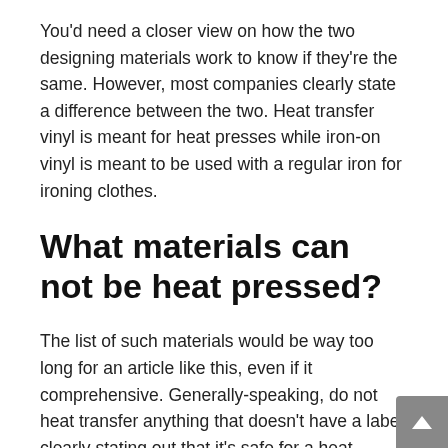You'd need a closer view on how the two designing materials work to know if they're the same. However, most companies clearly state a difference between the two. Heat transfer vinyl is meant for heat presses while iron-on vinyl is meant to be used with a regular iron for ironing clothes.
What materials can not be heat pressed?
The list of such materials would be way too long for an article like this, even if it comprehensive. Generally-speaking, do not heat transfer anything that doesn't have a label clearly stating out that it's safe for a heat transfer. Otherwise, you might run into some nasty surprises, such as